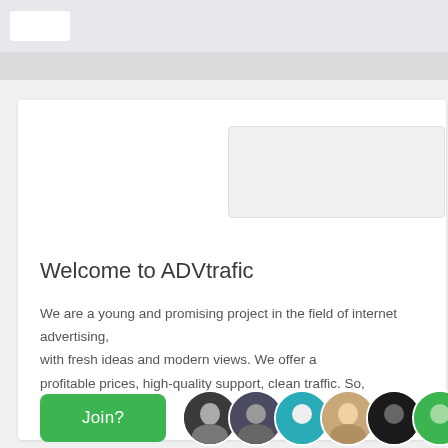[Figure (screenshot): Website top navigation bar with logo placeholder]
[Figure (screenshot): Search/login box placeholder on main card]
Welcome to ADVtrafic
We are a young and promising project in the field of internet advertising, with fresh ideas and modern views. We offer a high-quality service with profitable prices, high-quality support, clean traffic. So, why wait?
[Figure (illustration): Green Join? button and row of circular user avatars]